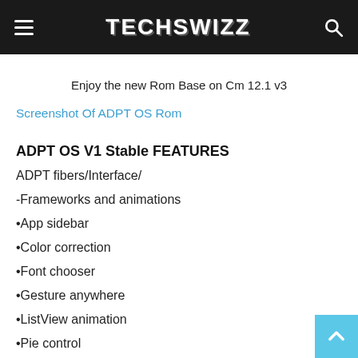TECHSWIZZ
Enjoy the new Rom Base on Cm 12.1 v3
Screenshot Of ADPT OS Rom
ADPT OS V1 Stable FEATURES
ADPT fibers/Interface/
-Frameworks and animations
•App sidebar
•Color correction
•Font chooser
•Gesture anywhere
•ListView animation
•Pie control
•Toast animation